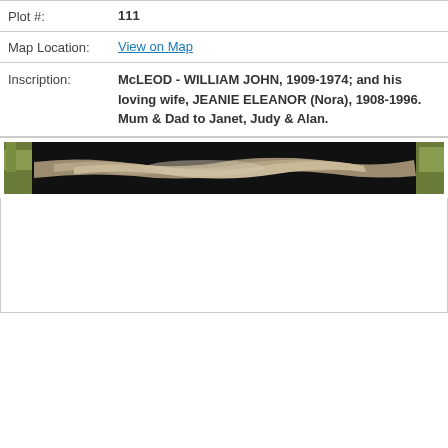| Plot #: | 111 |
| Map Location: | View on Map |
| Inscription: | McLEOD - WILLIAM JOHN, 1909-1974; and his loving wife, JEANIE ELEANOR (Nora), 1908-1996. Mum & Dad to Janet, Judy & Alan. |
[Figure (photo): Photograph of a grave or headstone from a cemetery, showing a dark stone with some light-coloured rock or granite visible at the base, with green grass visible at the edges.]